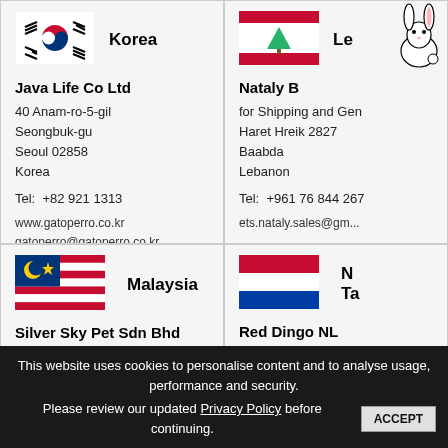[Figure (illustration): South Korean flag (Taegukgi) — white background with red/blue taeguk and black trigrams]
Korea
Java Life Co Ltd
40 Anam-ro-5-gil
Seongbuk-gu
Seoul 02858
Korea
Tel: +82 921 1313
www.gatoperro.co.kr
gatoperro@gatoperro.co.kr
[Figure (illustration): Lebanese flag — two red horizontal stripes with white middle stripe and green cedar tree, with cartoon rabbit mascot overlay]
Le...
Nataly B...
for Shipping and Gen...
Haret Hreik 2827
Baabda
Lebanon
Tel: +961 76 844 267...
ets.nataly.sales@gm...
[Figure (illustration): Malaysian flag (Jalur Gemilang) — red and white stripes with blue canton, yellow crescent and star]
Malaysia
Silver Sky Pet Sdn Bhd
[Figure (illustration): Netherlands flag — three horizontal stripes: red, white, blue]
N... Ta...
Red Dingo NL
This website uses cookies to personalise content and to analyse usage, performance and security.
Please review our updated Privacy Policy before continuing.
ACCEPT